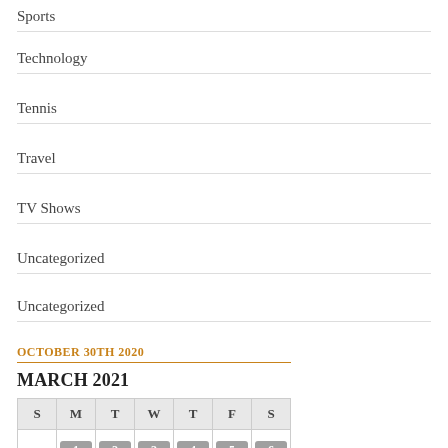Sports
Technology
Tennis
Travel
TV Shows
Uncategorized
Uncategorized
OCTOBER 30TH 2020
MARCH 2021
| S | M | T | W | T | F | S |
| --- | --- | --- | --- | --- | --- | --- |
|  | 1 | 2 | 3 | 4 | 5 | 6 |
| 7 | 8 | 9 | 10 | 11 | 12 | 13 |
| 14 | 15 | 16 | 17 | 18 | 19 | 20 |